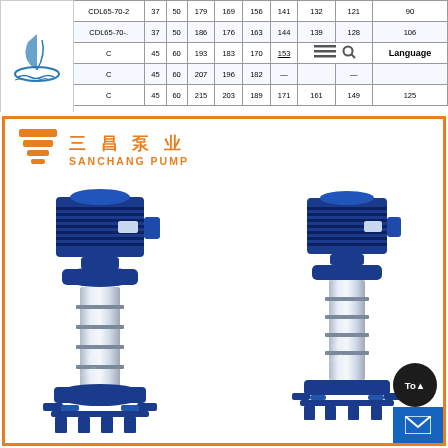| Model |  |  |  |  |  |  |  |  |  |
| --- | --- | --- | --- | --- | --- | --- | --- | --- | --- |
| CDL65-70-2 | 37 | 50 | 179 | 169 | 156 | 141 | 132 | 121 | 90 |
| CDL65-70-. | 37 | 50 | 186 | 176 | 163 | 144 | 139 | 128 | 106 |
| C | 45 | 60 | 193 | 183 | 170 | 153̲ | — | 135 | 112 |
| C | 45 | 60 | 207 | 196 | 182 | — |  | — |  |
| C | 45 | 60 | 215 | 203 | 189 | 171 | 161 | 149 | 125 |
[Figure (photo): Sanchang Pump company branding and product photo showing two vertical multistage centrifugal pumps with blue motors on top and stainless steel pump bodies, displayed inside an orange border frame]